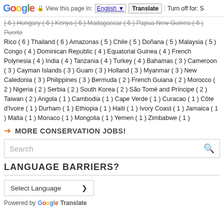Google — View this page in: English | Translate | Turn off for: S
( 6 ) Hungary ( 6 ) Kenya ( 6 ) Madagascar ( 6 ) Papua New Guinea ( 6 ) Puerto Rico ( 6 ) Thailand ( 6 ) Amazonas ( 5 ) Chile ( 5 ) Doñana ( 5 ) Malaysia ( 5 ) Congo ( 4 ) Dominican Republic ( 4 ) Equatorial Guinea ( 4 ) French Polynesia ( 4 ) India ( 4 ) Tanzania ( 4 ) Turkey ( 4 ) Bahamas ( 3 ) Cameroon ( 3 ) Cayman Islands ( 3 ) Guam ( 3 ) Holland ( 3 ) Myanmar ( 3 ) New Caledonia ( 3 ) Philippines ( 3 ) Bermuda ( 2 ) French Guiana ( 2 ) Morocco ( 2 ) Nigeria ( 2 ) Serbia ( 2 ) South Korea ( 2 ) São Tomé and Príncipe ( 2 ) Taiwan ( 2 ) Angola ( 1 ) Cambodia ( 1 ) Cape Verde ( 1 ) Curacao ( 1 ) Côte d'Ivoire ( 1 ) Durham ( 1 ) Ethiopia ( 1 ) Haiti ( 1 ) Ivory Coast ( 1 ) Jamaica ( 1 ) Malta ( 1 ) Monaco ( 1 ) Mongolia ( 1 ) Yemen ( 1 ) Zimbabwe ( 1 )
MORE CONSERVATION JOBS!
Search
LANGUAGE BARRIERS?
Select Language
Powered by Google Translate